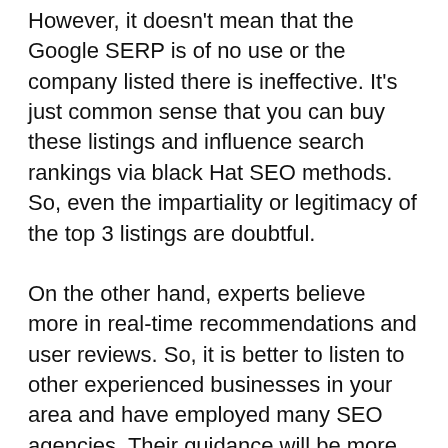However, it doesn't mean that the Google SERP is of no use or the company listed there is ineffective. It's just common sense that you can buy these listings and influence search rankings via black Hat SEO methods. So, even the impartiality or legitimacy of the top 3 listings are doubtful.
On the other hand, experts believe more in real-time recommendations and user reviews. So, it is better to listen to other experienced businesses in your area and have employed many SEO agencies. Their guidance will be more practical